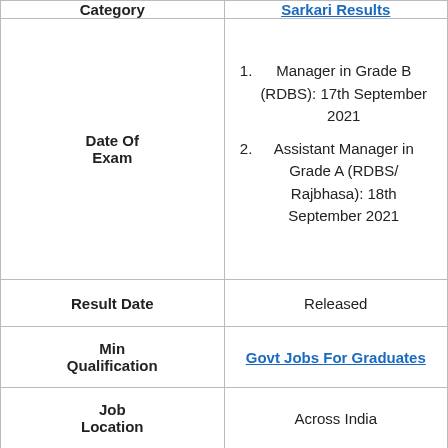| Category | Sarkari Results |
| --- | --- |
| Date Of Exam | 1. Manager in Grade B (RDBS): 17th September 2021
2. Assistant Manager in Grade A (RDBS/ Rajbhasa): 18th September 2021 |
| Result Date | Released |
| Min Qualification | Govt Jobs For Graduates |
| Job Location | Across India |